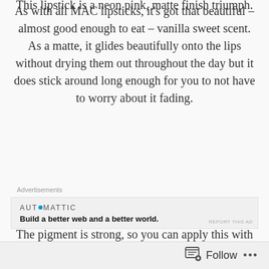This lipstick is a neon pink, matte finish triumph.
As with all MAC lipsticks, it’s got that beautiful – almost good enough to eat – vanilla sweet scent. As a matte, it glides beautifully onto the lips without drying them out throughout the day but it does stick around long enough for you to not have to worry about it fading.
Advertisements
[Figure (logo): Automattic logo with tagline: Build a better web and a better world.]
REPORT THIS AD
The pigment is strong, so you can apply this with one coat – but personally I build it up to get the most vibrancy from this shade.
Follow